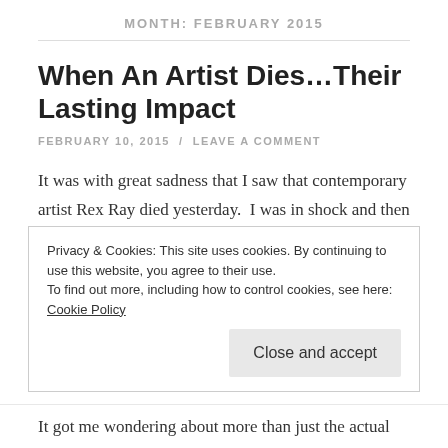MONTH: FEBRUARY 2015
When An Artist Dies…Their Lasting Impact
FEBRUARY 10, 2015 / LEAVE A COMMENT
It was with great sadness that I saw that contemporary artist Rex Ray died yesterday.  I was in shock and then a wave of uncertainty came into my consciousness.  I've been following Ray's work for a while and always been
Privacy & Cookies: This site uses cookies. By continuing to use this website, you agree to their use.
To find out more, including how to control cookies, see here: Cookie Policy
It got me wondering about more than just the actual